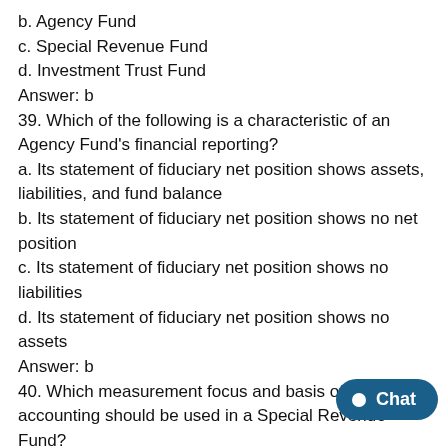b. Agency Fund
c. Special Revenue Fund
d. Investment Trust Fund
Answer: b
39. Which of the following is a characteristic of an Agency Fund's financial reporting?
a. Its statement of fiduciary net position shows assets, liabilities, and fund balance
b. Its statement of fiduciary net position shows no net position
c. Its statement of fiduciary net position shows no liabilities
d. Its statement of fiduciary net position shows no assets
Answer: b
40. Which measurement focus and basis of accounting should be used in a Special Revenue Fund?